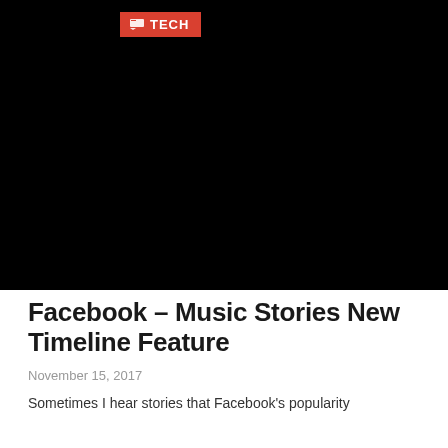[Figure (photo): Large black image area with a red TECH category badge in the upper left area]
Facebook – Music Stories New Timeline Feature
November 15, 2017
Sometimes I hear stories that Facebook's popularity